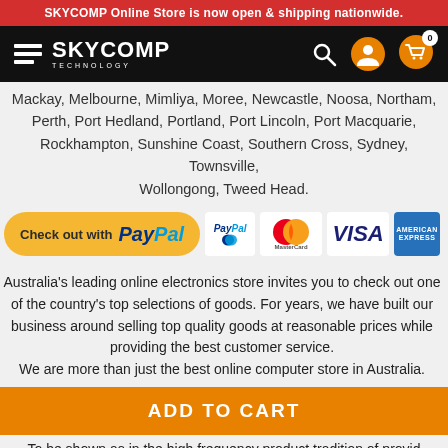SKYCOMP Online Store is now open & shipping nationwide.
[Figure (logo): SKYCOMP TECHNOLOGY logo with hamburger menu lines on black header bar, with search, user, and cart icons]
Mackay, Melbourne, Mimliya, Moree, Newcastle, Noosa, Northam, Perth, Port Hedland, Portland, Port Lincoln, Port Macquarie, Rockhampton, Sunshine Coast, Southern Cross, Sydney, Townsville, Wollongong, Tweed Head.
[Figure (infographic): PayPal checkout button and payment method icons: PayPal, MasterCard, VISA, American Express]
Australia's leading online electronics store invites you to check out one of the country's top selections of goods. For years, we have built our business around selling top quality goods at reasonable prices while providing the best customer service. We are more than just the best online computer store in Australia.
[Figure (other): ADD TO CART orange button]
To be shown as in the high frequency product tradition of provider